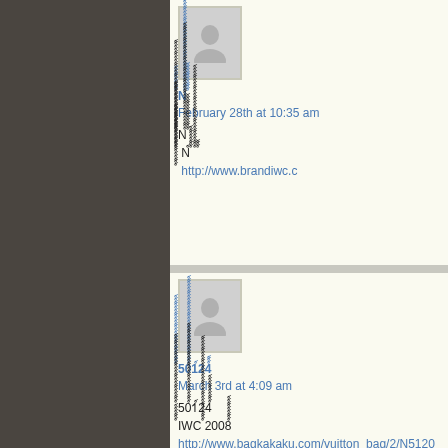[Figure (photo): Gray avatar/profile placeholder image in a bordered box]
xxxxxxxxxxxxxxxxNxxxxxxxxxxxxxxxxxxxxxxxxxxxxxxxxxxxxxxxxxxxxxxxxxx xxxxxxxxxx February 28th at 10:35 am
xxxxxxxxxxxxxxxxxNxxxxxxxxxxxxxxxxxxxxxxxxxxxxxxxxxxxxxxxxxx xxxxxxxxxxxxxxxxxxxxxxxxxxxxxxxxxx Nx xxxxxxxxx xxxxxxxxxxxxxxxxxxxxxxxxxxxxxxxxxxxxxxx xxxxxxxxxxxxxxxxxxxxxxxxxxxxxxxxxxxxxxxxxxxxxxxxxxxxxxxxxxxxx http://www.brandiwc.c
[Figure (photo): Gray avatar/profile placeholder image in a bordered box]
xxxxxxxxxxxxxxxxxxxxxxxxxxx50xxxxxxxxxxxxxxxxxxxxxxxxxxxxxxxxxxxxxxx1x24xxx March 3rd at 4:09 am
xxxxxxxxxxxxxxxxxxxxxxxxxxx50xxxxxxxxxxxxxxxxxxxxxxxxxxxxxxxxxxxxxxx1x24xxxxxxxxxxxxxxxxxxxxxxxxIWC xxxxxxxxxxxxxxxxxxxxxxxxxxxxxxxxxxxxxxx2008xxxxxxxxxxxxxxxxx http://www.bagkakaku.com/vuitton_bag/2/N51206.html